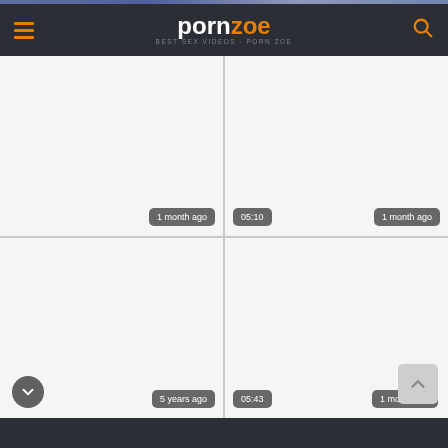pornzoe - BEST SEX VIDEOS - PORN ZOE
[Figure (screenshot): Video thumbnail 1 - blank white, bottom-right badge: 1 month ago]
[Figure (screenshot): Video thumbnail 2 - blank white, bottom-left badge: 05:10, bottom-right badge: 1 month ago]
[Figure (screenshot): Video thumbnail 3 - blank white, bottom-right badge: 5 years ago]
[Figure (screenshot): Video thumbnail 4 - blank white, bottom-left badge: 05:43, bottom-right badge: 1 month ago]